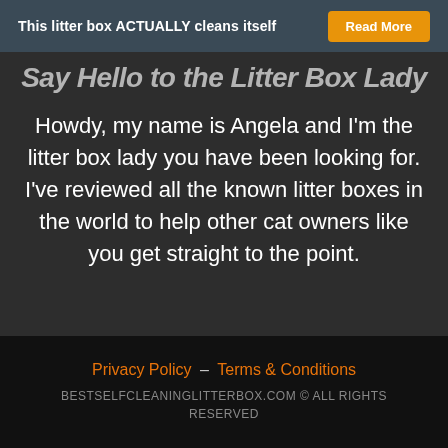This litter box ACTUALLY cleans itself | Read More
...Say Hello to the Litter Box Lady
Howdy, my name is Angela and I'm the litter box lady you have been looking for. I've reviewed all the known litter boxes in the world to help other cat owners like you get straight to the point.
[Figure (logo): DMCA PROTECTED badge]
Privacy Policy – Terms & Conditions
BESTSELFCLEANINGLITTERBOX.COM © ALL RIGHTS RESERVED